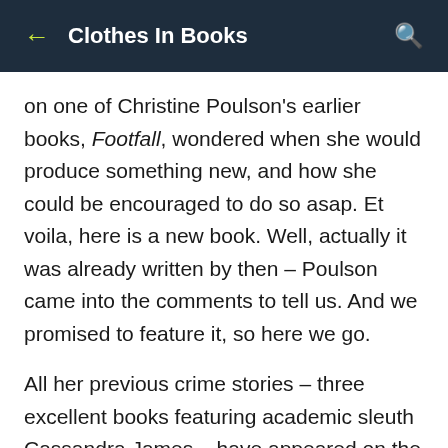Clothes In Books
on one of Christine Poulson's earlier books, Footfall, wondered when she would produce something new, and how she could be encouraged to do so asap. Et voila, here is a new book. Well, actually it was already written by then – Poulson came into the comments to tell us. And we promised to feature it, so here we go.
All her previous crime stories – three excellent books featuring academic sleuth Cassandra James – have appeared on the blog (Murder is Academic, Stage Fright and Footfall) – but this is a